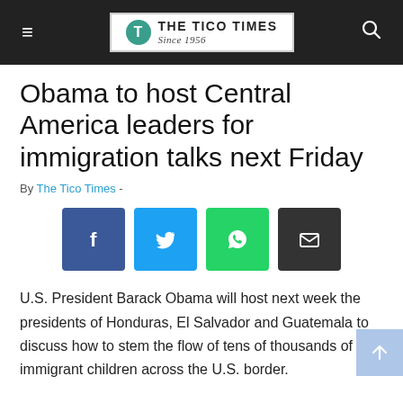THE TICO TIMES Since 1956
Obama to host Central America leaders for immigration talks next Friday
By The Tico Times -
[Figure (other): Social share buttons: Facebook, Twitter, WhatsApp, Email]
U.S. President Barack Obama will host next week the presidents of Honduras, El Salvador and Guatemala to discuss how to stem the flow of tens of thousands of immigrant children across the U.S. border.